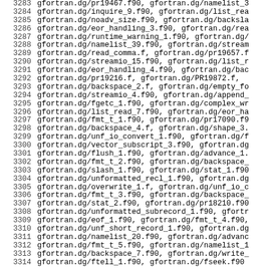3283  gfortran.dg/pr19467.f90, gfortran.dg/namelist_3
3284  gfortran.dg/inquire_9.f90, gfortran.dg/list_rea
3285  gfortran.dg/noadv_size.f90, gfortran.dg/backsla
3286  gfortran.dg/eor_handling_3.f90, gfortran.dg/rea
3287  gfortran.dg/runtime_warning_1.f90, gfortran.dg/
3288  gfortran.dg/namelist_39.f90, gfortran.dg/stream
3289  gfortran.dg/read_comma.f, gfortran.dg/pr19657.f
3290  gfortran.dg/streamio_15.f90, gfortran.dg/list_r
3291  gfortran.dg/eor_handling_4.f90, gfortran.dg/bac
3292  gfortran.dg/pr19216.f, gfortran.dg/PR19872.f,
3293  gfortran.dg/backspace_2.f, gfortran.dg/empty_fo
3294  gfortran.dg/streamio_4.f90, gfortran.dg/append_
3295  gfortran.dg/fgetc_1.f90, gfortran.dg/complex_wr
3296  gfortran.dg/list_read_7.f90, gfortran.dg/eor_ha
3297  gfortran.dg/fmt_t_1.f90, gfortran.dg/pr17090.f9
3298  gfortran.dg/backspace_4.f, gfortran.dg/shape_3.
3299  gfortran.dg/unf_io_convert_1.f90, gfortran.dg/f
3300  gfortran.dg/vector_subscript_3.f90, gfortran.dg
3301  gfortran.dg/flush_1.f90, gfortran.dg/advance_1.
3302  gfortran.dg/fmt_t_2.f90, gfortran.dg/backspace_
3303  gfortran.dg/slash_1.f90, gfortran.dg/stat_1.f90
3304  gfortran.dg/unformatted_recl_1.f90, gfortran.dg
3305  gfortran.dg/overwrite_1.f, gfortran.dg/unf_io_c
3306  gfortran.dg/fmt_t_3.f90, gfortran.dg/backspace_
3307  gfortran.dg/stat_2.f90, gfortran.dg/pr18210.f90
3308  gfortran.dg/unformatted_subrecord_1.f90, gfortr
3309  gfortran.dg/eof_1.f90, gfortran.dg/fmt_t_4.f90,
3310  gfortran.dg/unf_short_record_1.f90, gfortran.dg
3311  gfortran.dg/namelist_20.f90, gfortran.dg/advanc
3312  gfortran.dg/fmt_t_5.f90, gfortran.dg/namelist_1
3313  gfortran.dg/backspace_7.f90, gfortran.dg/write_
3314  gfortran.dg/ftell_1.f90, gfortran.dg/fseek.f90